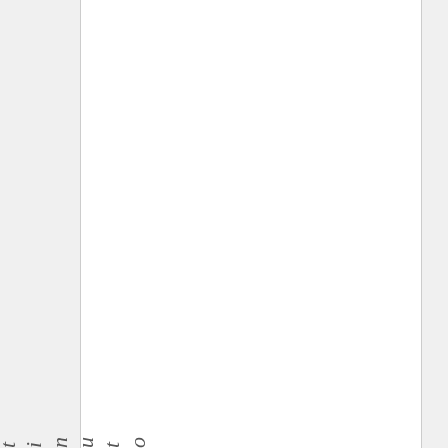ounite. Therefore, they needed to